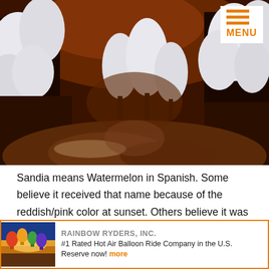[Figure (photo): Nighttime winter scene with snow-covered trees illuminated against a dark orange-brown sky, with snowy ground in the foreground.]
Sandia means Watermelon in Spanish. Some believe it received that name because of the reddish/pink color at sunset. Others believe it was named after the squash or gourds that grow in the area, mistakenly thought to be watermelon. The Sandias are part of the larger Sandia-Manzano Mountain range and serve up some great
[Figure (photo): Advertisement banner for Rainbow Ryders, Inc. showing hot air balloons at sunrise/sunset with text: RAINBOW RYDERS, INC. #1 Rated Hot Air Balloon Ride Company in the U.S. Reserve now! more]